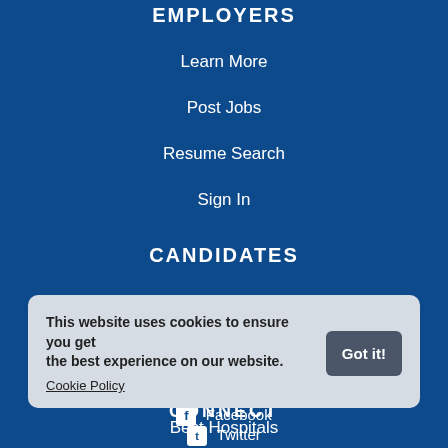EMPLOYERS
Learn More
Post Jobs
Resume Search
Sign In
CANDIDATES
Search Jobs
Post Resume
Scholarship
Best Hospitals
This website uses cookies to ensure you get the best experience on our website. Cookie Policy
CONNECT
Facebook
Twitter